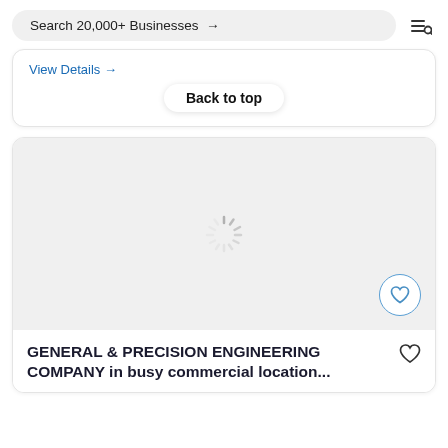Search 20,000+ Businesses →
View Details →
Back to top
[Figure (screenshot): Loading spinner (animated) on a light grey background card area, with a heart/favourite circle button in the bottom-right corner]
GENERAL & PRECISION ENGINEERING COMPANY in busy commercial location...